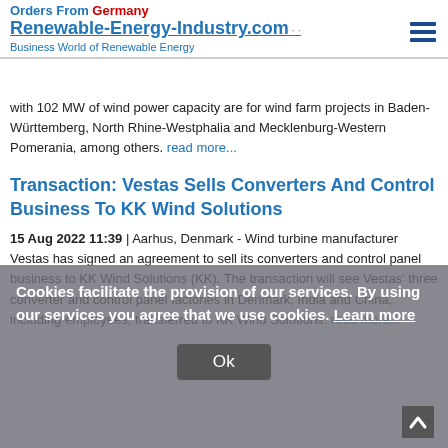Orders From Germany
Renewable-Energy-Industry.com
Business World of Renewable Energy
with 102 MW of wind power capacity are for wind farm projects in Baden-Württemberg, North Rhine-Westphalia and Mecklenburg-Western Pomerania, among others. read more...
Transaction: Vestas Sells Converters And Control Business To KK Wind Solutions
15 Aug 2022 11:39 | Aarhus, Denmark - Wind turbine manufacturer Vestas has signed an agreement to sell its converters and control panel business to KK Wind Solutions (KK). The transaction will see Vestas' three converter and control panel factories in Denmark, India and China, including employees, transferred to KK Wind Solutions. read more...
Cookies facilitate the provision of our services. By using our services you agree that we use cookies. Learn more
Ok